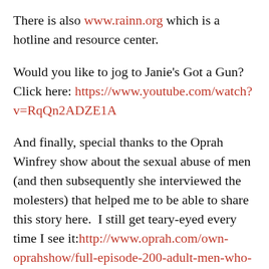There is also www.rainn.org which is a hotline and resource center.
Would you like to jog to Janie's Got a Gun? Click here: https://www.youtube.com/watch?v=RqQn2ADZE1A
And finally, special thanks to the Oprah Winfrey show about the sexual abuse of men (and then subsequently she interviewed the molesters) that helped me to be able to share this story here.  I still get teary-eyed every time I see it:http://www.oprah.com/own-oprahshow/full-episode-200-adult-men-who-were-molested-come-forward-video